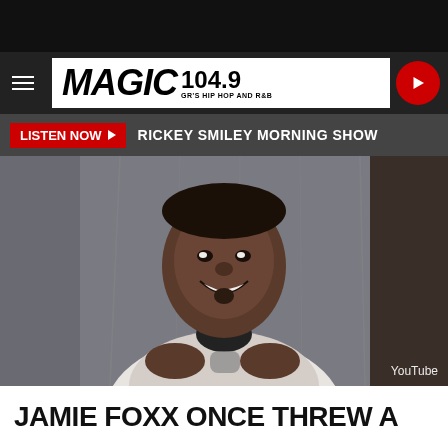MAGIC 104.9 GR'S HIP HOP AND R&B
LISTEN NOW ▶  RICKEY SMILEY MORNING SHOW
[Figure (photo): Jamie Foxx smiling and gesturing with his hands during a TV interview, wearing a white graphic print shirt. YouTube watermark visible in bottom right.]
JAMIE FOXX ONCE THREW A